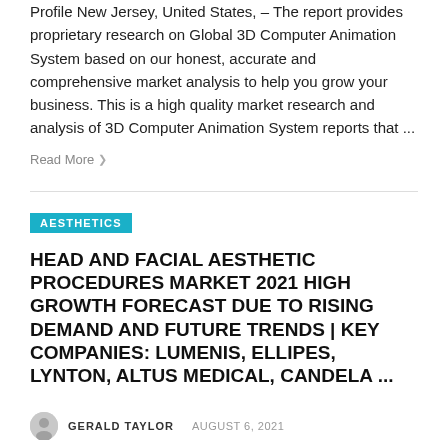Profile New Jersey, United States, – The report provides proprietary research on Global 3D Computer Animation System based on our honest, accurate and comprehensive market analysis to help you grow your business. This is a high quality market research and analysis of 3D Computer Animation System reports that ...
Read More ❯
AESTHETICS
HEAD AND FACIAL AESTHETIC PROCEDURES MARKET 2021 HIGH GROWTH FORECAST DUE TO RISING DEMAND AND FUTURE TRENDS | KEY COMPANIES: LUMENIS, ELLIPES, LYNTON, ALTUS MEDICAL, CANDELA ...
GERALD TAYLOR  AUGUST 6, 2021